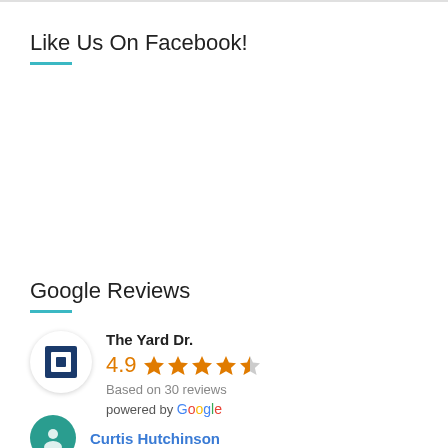Like Us On Facebook!
Google Reviews
[Figure (logo): The Yard Dr. logo — dark blue square-within-square icon on white circular background with shadow]
The Yard Dr.
4.9 ★★★★½
Based on 30 reviews
powered by Google
Curtis Hutchinson